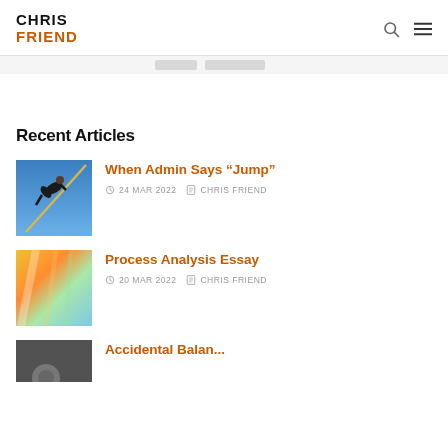CHRIS FRIEND
Recent Articles
[Figure (photo): Pole vaulter in mid-jump against blue sky]
When Admin Says “Jump”
24 MAR 2022   CHRIS FRIEND
[Figure (photo): Colorful blurred abstract image with yellow, orange, green]
Process Analysis Essay
20 MAR 2022   CHRIS FRIEND
[Figure (photo): Partially visible dark/grey photo of third article]